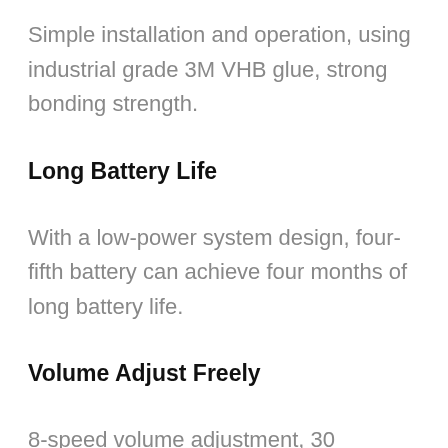Simple installation and operation, using industrial grade 3M VHB glue, strong bonding strength.
Long Battery Life
With a low-power system design, four-fifth battery can achieve four months of long battery life.
Volume Adjust Freely
8-speed volume adjustment, 30 ringtones on...